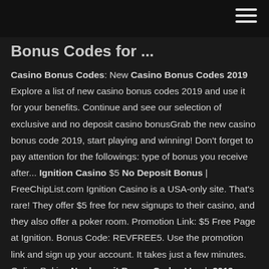Bonus Codes for ...
Casino Bonus Codes: New Casino Bonus Codes 2019 Explore a list of new casino bonus codes 2019 and use it for your benefits. Continue and see our selection of exclusive and no deposit casino bonusGrab the new casino bonus code 2019, start playing and winning! Don't forget to pay attention for the followings: type of bonus you receive after... Ignition Casino $5 No Deposit Bonus | FreeChipList.com Ignition Casino is a USA-only site. That's rare! They offer $5 free for new signups to their casino, and they also offer a poker room. Promotion Link: $5 Free Page at Ignition. Bonus Code: REVFREE5. Use the promotion link and sign up your account. It takes just a few minutes. Online Pokies No deposit Bonus Codes March 2019 Online